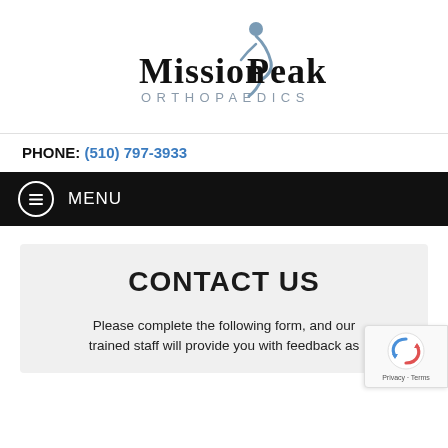[Figure (logo): Mission Peak Orthopaedics logo with stylized figure and text]
PHONE: (510) 797-3933
MENU
CONTACT US
Please complete the following form, and our trained staff will provide you with feedback as